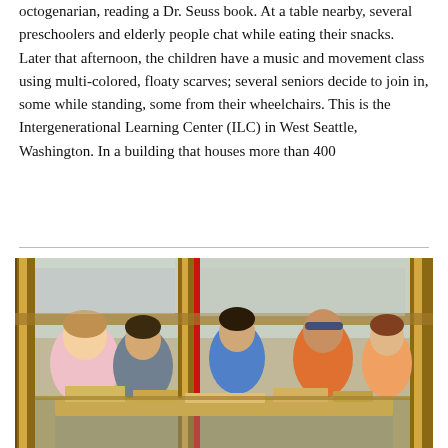octogenarian, reading a Dr. Seuss book. At a table nearby, several preschoolers and elderly people chat while eating their snacks. Later that afternoon, the children have a music and movement class using multi-colored, floaty scarves; several seniors decide to join in, some while standing, some from their wheelchairs. This is the Intergenerational Learning Center (ILC) in West Seattle, Washington. In a building that houses more than 400
[Figure (photo): Children working with wooden blocks and building structures at a table, viewed through wooden frame beams. Several children of various ages are engaged in hands-on construction activity. A red vertical bar is visible. The scene takes place in what appears to be a classroom or learning center.]